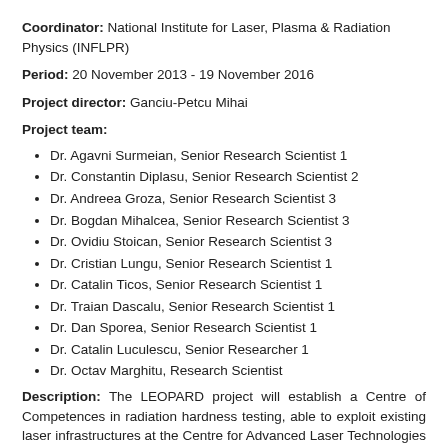Coordinator: National Institute for Laser, Plasma & Radiation Physics (INFLPR)
Period: 20 November 2013 - 19 November 2016
Project director: Ganciu-Petcu Mihai
Project team:
Dr. Agavni Surmeian, Senior Research Scientist 1
Dr. Constantin Diplasu, Senior Research Scientist 2
Dr. Andreea Groza, Senior Research Scientist 3
Dr. Bogdan Mihalcea, Senior Research Scientist 3
Dr. Ovidiu Stoican, Senior Research Scientist 3
Dr. Cristian Lungu, Senior Research Scientist 1
Dr. Catalin Ticos, Senior Research Scientist 1
Dr. Traian Dascalu, Senior Research Scientist 1
Dr. Dan Sporea, Senior Research Scientist 1
Dr. Catalin Luculescu, Senior Researcher 1
Dr. Octav Marghitu, Research Scientist
Description: The LEOPARD project will establish a Centre of Competences in radiation hardness testing, able to exploit existing laser infrastructures at the Centre for Advanced Laser Technologies (CETAL - 1 PW) and the upcoming ELI-NP (2 X 10 PW), in the near future, as well as the